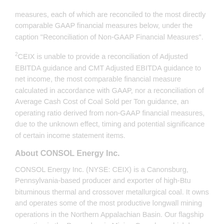measures, each of which are reconciled to the most directly comparable GAAP financial measures below, under the caption "Reconciliation of Non-GAAP Financial Measures".
2CEIX is unable to provide a reconciliation of Adjusted EBITDA guidance and CMT Adjusted EBITDA guidance to net income, the most comparable financial measure calculated in accordance with GAAP, nor a reconciliation of Average Cash Cost of Coal Sold per Ton guidance, an operating ratio derived from non-GAAP financial measures, due to the unknown effect, timing and potential significance of certain income statement items.
About CONSOL Energy Inc.
CONSOL Energy Inc. (NYSE: CEIX) is a Canonsburg, Pennsylvania-based producer and exporter of high-Btu bituminous thermal and crossover metallurgical coal. It owns and operates some of the most productive longwall mining operations in the Northern Appalachian Basin. Our flagship operation is the Pennsylvania Mining Complex, which has the